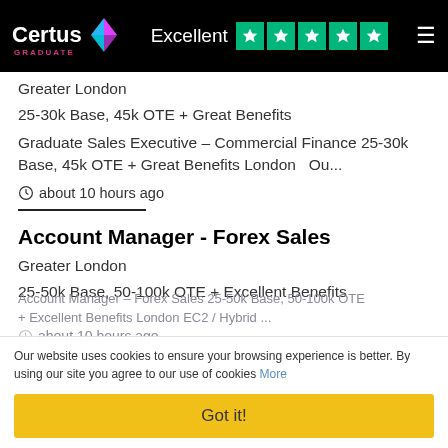Certus Graduate — Excellent ★★★★★
Greater London
25-30k Base, 45k OTE + Great Benefits
Graduate Sales Executive – Commercial Finance 25-30k Base, 45k OTE + Great Benefits London   Ou...
about 10 hours ago
Account Manager - Forex Sales
Greater London
25-50k Base, 50-100k OTE + Excellent Benefits
Account Manager – Forex Sales 25-50k Base, 50-100k OTE + Excellent Benefits London EC2 / Hybrid ...
about 10 hours ago
Our website uses cookies to ensure your browsing experience is better. By using our site you agree to our use of cookies More
Got it!